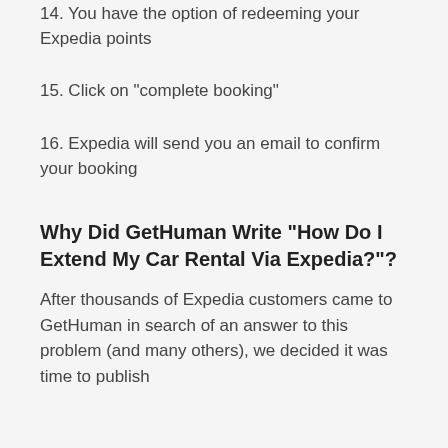14. You have the option of redeeming your Expedia points
15. Click on "complete booking"
16. Expedia will send you an email to confirm your booking
Why Did GetHuman Write "How Do I Extend My Car Rental Via Expedia?"?
After thousands of Expedia customers came to GetHuman in search of an answer to this problem (and many others), we decided it was time to publish